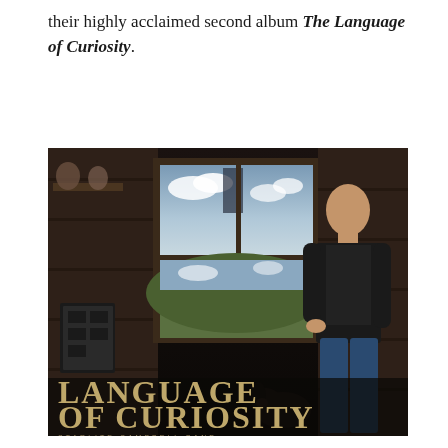their highly acclaimed second album The Language of Curiosity.
[Figure (photo): Album cover for 'Language of Curiosity' by Starlite Campbell Band. A bald man in a black jacket leans against a wooden wall inside a rustic shed, looking downward. Behind him is a large framed window showing a cloudy sky and green hills. A dark dog sits near the bottom center. In the lower left corner, the text 'LANGUAGE OF CURIOSITY' is displayed in large distressed serif font, with smaller text below reading 'STARLITE CAMPBELL BAND'.]